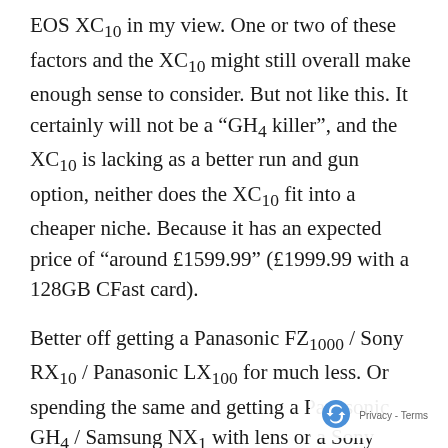EOS XC10 in my view. One or two of these factors and the XC10 might still overall make enough sense to consider. But not like this. It certainly will not be a “GH4 killer”, and the XC10 is lacking as a better run and gun option, neither does the XC10 fit into a cheaper niche. Because it has an expected price of “around £1599.99” (£1999.99 with a 128GB CFast card).
Better off getting a Panasonic FZ1000 / Sony RX10 / Panasonic LX100 for much less. Or spending the same and getting a Panasonic GH4 / Samsung NX1 with lens or a Sony PXW-X70 / Sony FDR-AX100 (with Sony XLR-K2M).
Plus the Canon Cinema EOS XC10 won’t go on… into June 2015.